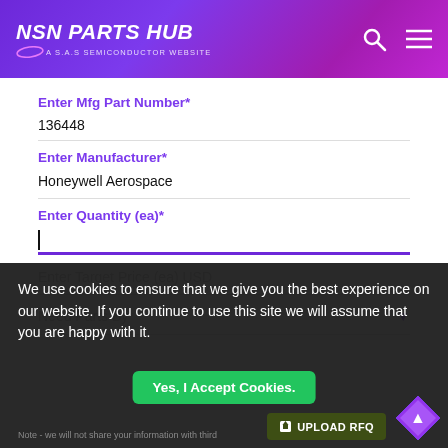NSN PARTS HUB — A S.A.S SEMICONDUCTOR WEBSITE
Enter Mfg Part Number*
136448
Enter Manufacturer*
Honeywell Aerospace
Enter Quantity (ea)*
Enter Target Price (ea) USD
Need Parts By*
We use cookies to ensure that we give you the best experience on our website. If you continue to use this site we will assume that you are happy with it.
Yes, I Accept Cookies.
UPLOAD RFQ
Note - we will not share your information with third parties